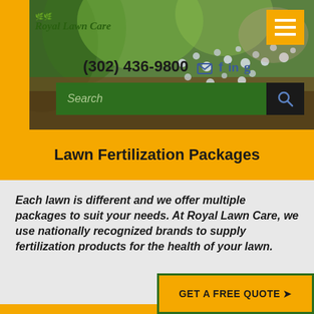[Figure (screenshot): Royal Lawn Care website header with grass/fertilizer background photo, yellow left bar, logo, hamburger menu, phone number, social icons, and search bar]
Lawn Fertilization Packages
Each lawn is different and we offer multiple packages to suit your needs. At Royal Lawn Care, we use nationally recognized brands to supply fertilization products for the health of your lawn.
GET A FREE QUOTE →